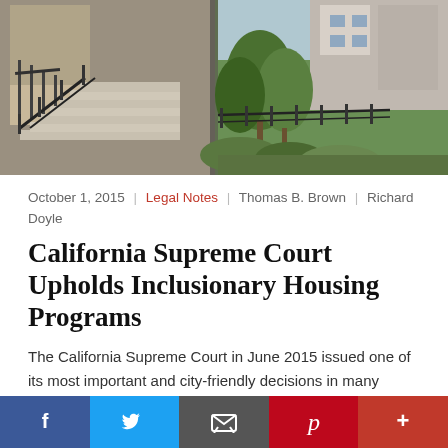[Figure (photo): Photograph of residential townhouses with concrete stairs and metal railings on the left, green trees and shrubs in the middle, and a grey/beige building on the right]
October 1, 2015 | Legal Notes | Thomas B. Brown | Richard Doyle
California Supreme Court Upholds Inclusionary Housing Programs
The California Supreme Court in June 2015 issued one of its most important and city-friendly decisions in many years, reaffirming the breadth of cities’ power to address the affordable housing...